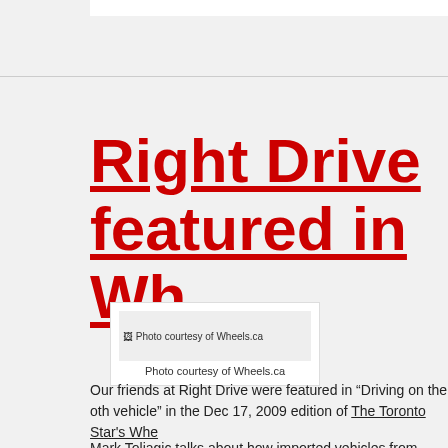Right Drive featured in Whe
[Figure (photo): Photo courtesy of Wheels.ca with caption below image]
Photo courtesy of Wheels.ca
Our friends at Right Drive were featured in “Driving on the oth vehicle” in the Dec 17, 2009 edition of The Toronto Star's Whe
Mark Toljagic talks about how imported vehicles from Japan a